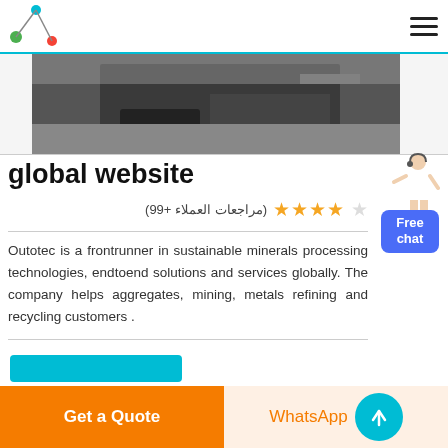global website — navigation header with logo and hamburger menu
[Figure (photo): Partial view of industrial/mining equipment, dark machinery on a grey background]
global website
(مراجعات العملاء +99) ★★★★☆
Outotec is a frontrunner in sustainable minerals processing technologies, endtoend solutions and services globally. The company helps aggregates, mining, metals refining and recycling customers .
[Figure (illustration): Customer service person illustration with Free chat button]
Get a Quote
WhatsApp